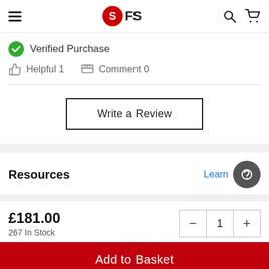FS (logo header with hamburger menu, search and cart icons)
Verified Purchase
Helpful 1   Comment 0
Write a Review
Resources
Learn More
£181.00
267 In Stock
Add to Basket